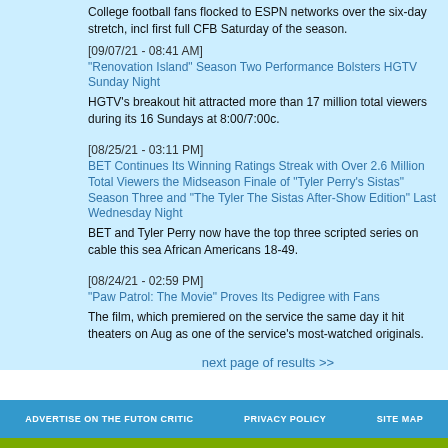College football fans flocked to ESPN networks over the six-day stretch, incl first full CFB Saturday of the season.
[09/07/21 - 08:41 AM]
"Renovation Island" Season Two Performance Bolsters HGTV Sunday Night
HGTV's breakout hit attracted more than 17 million total viewers during its 16 Sundays at 8:00/7:00c.
[08/25/21 - 03:11 PM]
BET Continues Its Winning Ratings Streak with Over 2.6 Million Total Viewers the Midseason Finale of "Tyler Perry's Sistas" Season Three and "The Tyler The Sistas After-Show Edition" Last Wednesday Night
BET and Tyler Perry now have the top three scripted series on cable this sea African Americans 18-49.
[08/24/21 - 02:59 PM]
"Paw Patrol: The Movie" Proves Its Pedigree with Fans
The film, which premiered on the service the same day it hit theaters on Aug as one of the service's most-watched originals.
next page of results >>
ADVERTISE ON THE FUTON CRITIC   PRIVACY POLICY   SITE MAP